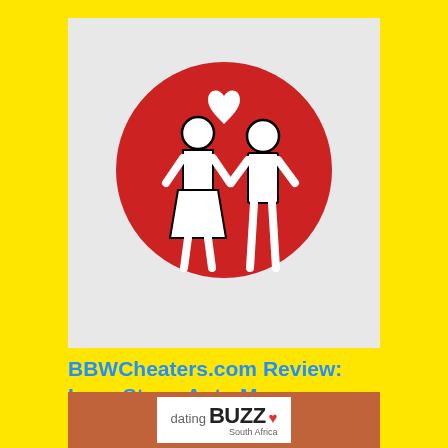[Figure (illustration): Red circle with white female and male stick figures and a white heart above them on a light gray background]
BBWCheaters.com Review: Love Stars, Auto Messages, And BBW Girls You Will Never Bang
[Figure (logo): Dating Buzz South Africa logo on a terracotta/brown background - white rectangle with 'dating' in gray and 'BUZZ' in bold black with a red heart, and 'South Africa' beneath]